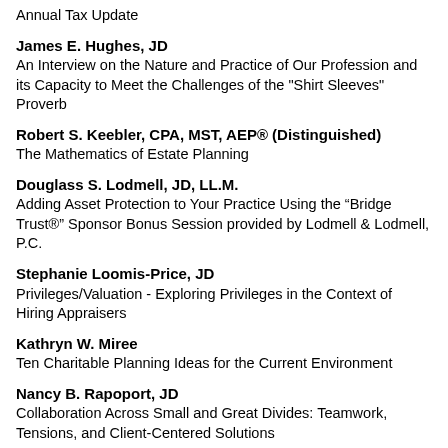Annual Tax Update
James E. Hughes, JD
An Interview on the Nature and Practice of Our Profession and its Capacity to Meet the Challenges of the "Shirt Sleeves" Proverb
Robert S. Keebler, CPA, MST, AEP® (Distinguished)
The Mathematics of Estate Planning
Douglass S. Lodmell, JD, LL.M.
Adding Asset Protection to Your Practice Using the “Bridge Trust®” Sponsor Bonus Session provided by Lodmell & Lodmell, P.C.
Stephanie Loomis-Price, JD
Privileges/Valuation - Exploring Privileges in the Context of Hiring Appraisers
Kathryn W. Miree
Ten Charitable Planning Ideas for the Current Environment
Nancy B. Rapoport, JD
Collaboration Across Small and Great Divides: Teamwork, Tensions, and Client-Centered Solutions
Jeffrey Schoenblum, JD, AEP® (Distinguished) Nominee